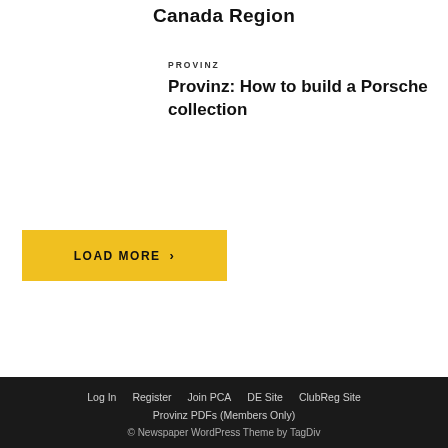Canada Region
PROVINZ
Provinz: How to build a Porsche collection
LOAD MORE ›
Log In   Register   Join PCA   DE Site   ClubReg Site   Provinz PDFs (Members Only)   © Newspaper WordPress Theme by TagDiv